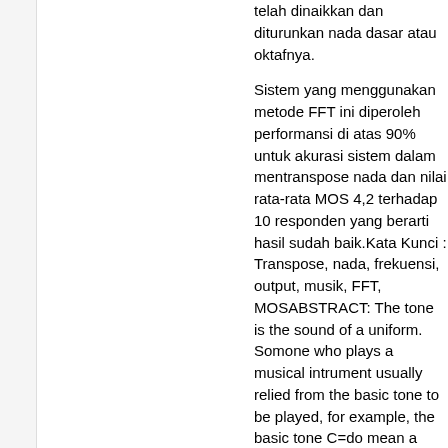telah dinaikkan dan diturunkan nada dasar atau oktafnya.
Sistem yang menggunakan metode FFT ini diperoleh performansi di atas 90% untuk akurasi sistem dalam mentranspose nada dan nilai rata-rata MOS 4,2 terhadap 10 responden yang berarti hasil sudah baik.Kata Kunci : Transpose, nada, frekuensi, output, musik, FFT, MOSABSTRACT: The tone is the sound of a uniform. Somone who plays a musical intrument usually relied from the basic tone to be played, for example, the basic tone C=do mean a person who plays a tone based on the octave C. But in its development, one can raise or lower the basic tone is commonly called the Transpose. In this final project will be designed a system that is able to record sound and transposing guitar music that is played according to the mol (b) or kres (#) are inserted by the guitar player. Octave guitar tone can be changed in accordance with the wishes of the user without having to change the basic key